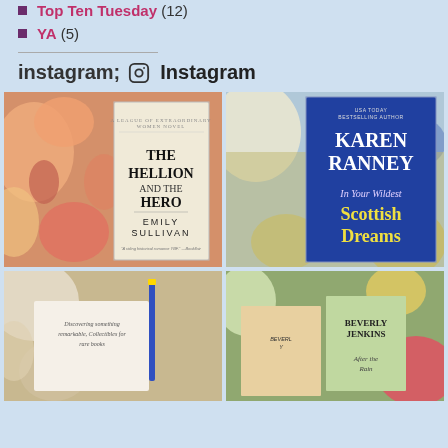Top Ten Tuesday (12)
YA (5)
Instagram
[Figure (photo): Book cover photo of 'The Hellion and the Hero' by Emily Sullivan, surrounded by colorful flowers]
[Figure (photo): Book cover photo of 'In Your Wildest Scottish Dreams' by Karen Ranney, surrounded by blue and yellow flowers]
[Figure (photo): Book cover photo partially visible with flowers, pen visible]
[Figure (photo): Multiple book covers by Beverly Jenkins visible with colorful flowers and background]